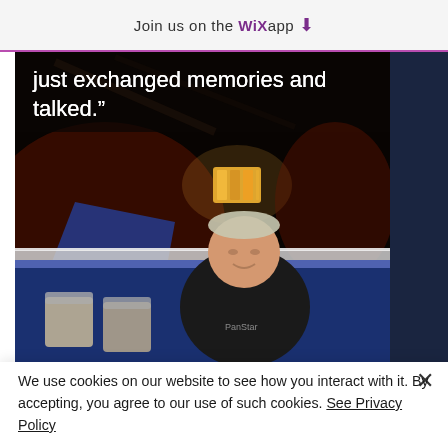Join us on the WiX app ⬇
just exchanged memories and talked.”
[Figure (photo): A man in a black shirt standing inside what appears to be a roller rink or entertainment venue, with a lit disco ball or light fixture visible in the background, dark ambient lighting with reddish and blue tones.]
We use cookies on our website to see how you interact with it. By accepting, you agree to our use of such cookies. See Privacy Policy
Cookie Settings
Accept